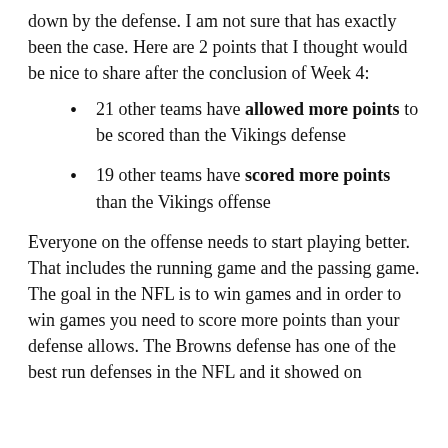down by the defense. I am not sure that has exactly been the case. Here are 2 points that I thought would be nice to share after the conclusion of Week 4:
21 other teams have allowed more points to be scored than the Vikings defense
19 other teams have scored more points than the Vikings offense
Everyone on the offense needs to start playing better. That includes the running game and the passing game. The goal in the NFL is to win games and in order to win games you need to score more points than your defense allows. The Browns defense has one of the best run defenses in the NFL and it showed on